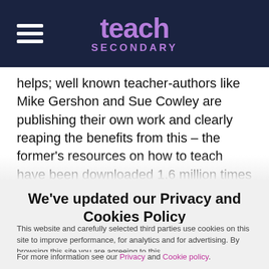teach SECONDARY
helps; well known teacher-authors like Mike Gershon and Sue Cowley are publishing their own work and clearly reaping the benefits from this – the former's resources on how to teach have been downloaded 1.6 million times while Cowley has books in the Amazon bestseller list
We've updated our Privacy and Cookies Policy
This website and carefully selected third parties use cookies on this site to improve performance, for analytics and for advertising. By browsing this site you are agreeing to this.
For more information see our Privacy and Cookie policy.
✓ OK